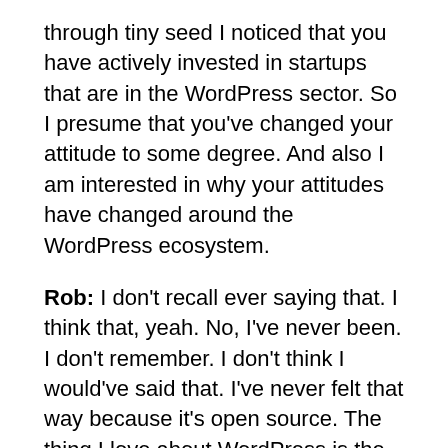through tiny seed I noticed that you have actively invested in startups that are in the WordPress sector. So I presume that you've changed your attitude to some degree. And also I am interested in why your attitudes have changed around the WordPress ecosystem.
Rob: I don't recall ever saying that. I think that, yeah. No, I've never been. I don't remember. I don't think I would've said that. I've never felt that way because it's open source. The thing I love about WordPress is the ecosystem there. I wouldn't do it if I wanted to personally build a seven figure or more